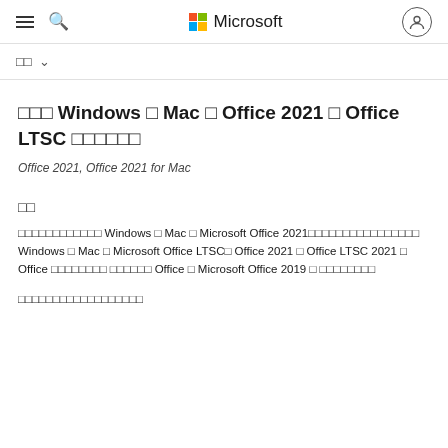Microsoft
□□ ∨
□□□ Windows □ Mac □ Office 2021 □ Office LTSC □□□□□□
Office 2021, Office 2021 for Mac
□□
□□□□□□□□□□□□ Windows □ Mac □ Microsoft Office 2021□□□□□□□□□□□□□□□□ Windows □ Mac □ Microsoft Office LTSC□ Office 2021 □ Office LTSC 2021 □ Office □□□□□□□□ □□□□□□ Office □ Microsoft Office 2019 □ □□□□□□□□
□□□□□□□□□□□□□□□□□□